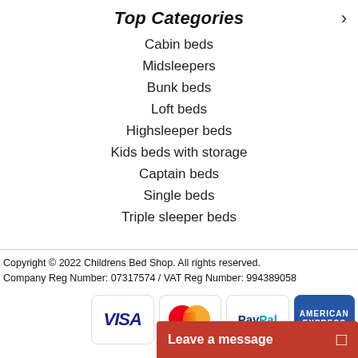Top Categories
Cabin beds
Midsleepers
Bunk beds
Loft beds
Highsleeper beds
Kids beds with storage
Captain beds
Single beds
Triple sleeper beds
Copyright © 2022 Childrens Bed Shop. All rights reserved.
Company Reg Number: 07317574 / VAT Reg Number: 994389058
[Figure (logo): Payment method logos: VISA, MasterCard, PayPal, American Express]
Leave a message